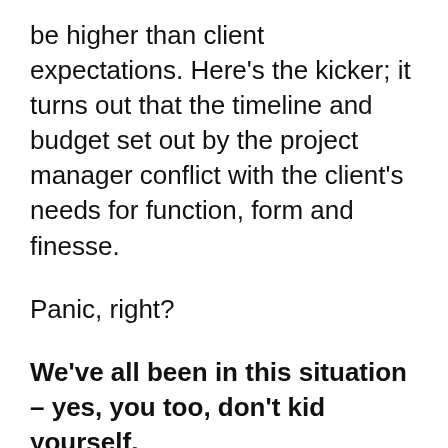be higher than client expectations. Here's the kicker; it turns out that the timeline and budget set out by the project manager conflict with the client's needs for function, form and finesse.
Panic, right?
We've all been in this situation – yes, you too, don't kid yourself.
So where do you draw the line? Do you sacrifice your personal time in order to keep the deadline? Do you cut corners on